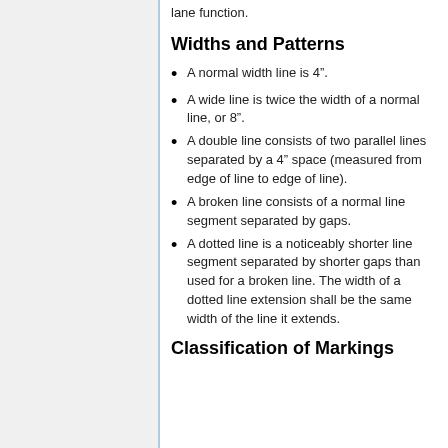lane function.
Widths and Patterns
A normal width line is 4”.
A wide line is twice the width of a normal line, or 8”.
A double line consists of two parallel lines separated by a 4” space (measured from edge of line to edge of line).
A broken line consists of a normal line segment separated by gaps.
A dotted line is a noticeably shorter line segment separated by shorter gaps than used for a broken line. The width of a dotted line extension shall be the same width of the line it extends.
Classification of Markings